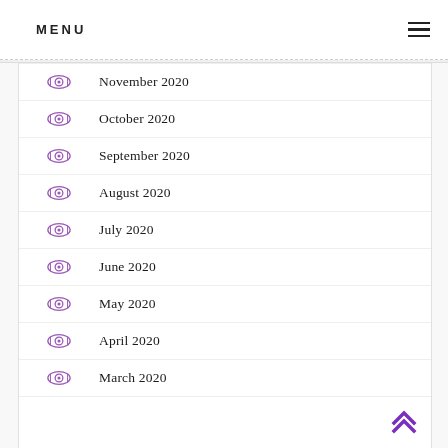MENU
November 2020
October 2020
September 2020
August 2020
July 2020
June 2020
May 2020
April 2020
March 2020